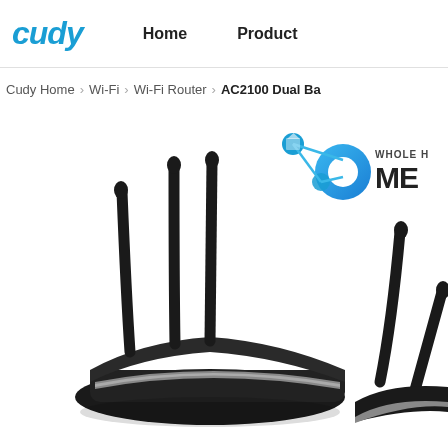cudy | Home | Product
Cudy Home > Wi-Fi > Wi-Fi Router > AC2100 Dual Ba...
[Figure (photo): Cudy AC2100 Dual Band Wi-Fi Router product photo showing black router with 4 antennas, viewed from above at an angle]
[Figure (logo): Whole Home Mesh logo with blue gradient network nodes icon and text ME... (truncated)]